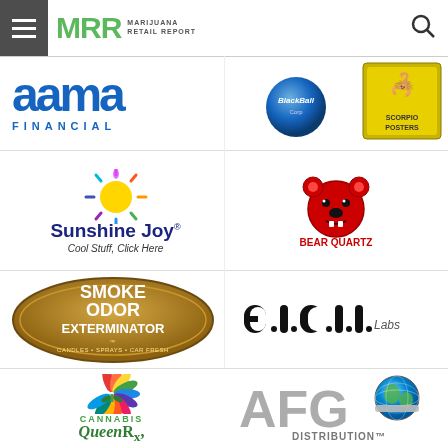MRR Marijuana Retail Report
[Figure (logo): AAMA FINANCIAL logo in blue]
[Figure (logo): BlackBall logo with blue ball graphic]
[Figure (logo): Scorpio Posters logo with scorpion]
[Figure (logo): Sunshine Joy - Cool Stuff, Click Here logo with sun]
[Figure (logo): Bear Quartz logo with red bear]
[Figure (logo): Smoke Odor Exterminator - Candles Sprays Car Fresh logo]
[Figure (logo): e.l.c.l.l. Labs logo in black]
[Figure (logo): Cannabis QueenRx colorful marijuana leaf logo]
[Figure (logo): AFG Distribution logo with globe]